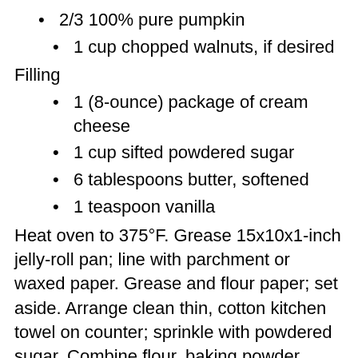2/3 100% pure pumpkin
1 cup chopped walnuts, if desired
Filling
1 (8-ounce) package of cream cheese
1 cup sifted powdered sugar
6 tablespoons butter, softened
1 teaspoon vanilla
Heat oven to 375°F. Grease 15x10x1-inch jelly-roll pan; line with parchment or waxed paper. Grease and flour paper; set aside. Arrange clean thin, cotton kitchen towel on counter; sprinkle with powdered sugar. Combine flour, baking powder, baking soda, cinnamon, cloves, and salt in small bowl. Combine eggs and sugar in large bowl; beat until thickened. Add pumpkin; beat until well mixed. Stir in flour mixture. Spread Pumpkin Roll batter evenly in prepared pan.